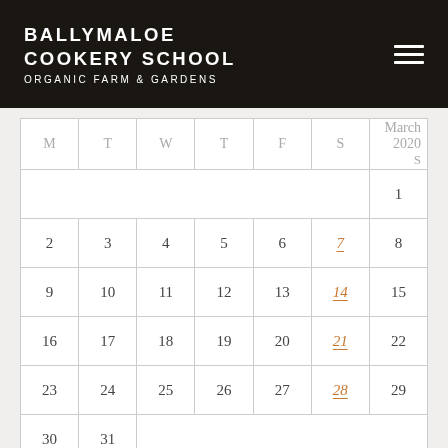BALLYMALOE COOKERY SCHOOL ORGANIC FARM & GARDENS
| M | T | W | T | F | S | S |
| --- | --- | --- | --- | --- | --- | --- |
|  |  |  |  |  |  | 1 |
| 2 | 3 | 4 | 5 | 6 | 7 | 8 |
| 9 | 10 | 11 | 12 | 13 | 14 | 15 |
| 16 | 17 | 18 | 19 | 20 | 21 | 22 |
| 23 | 24 | 25 | 26 | 27 | 28 | 29 |
| 30 | 31 |  |  |  |  |  |